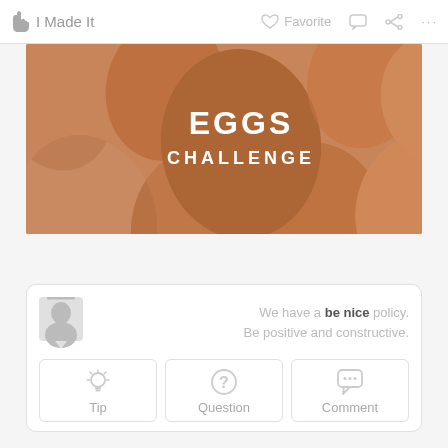I Made It    Favorite    ...
[Figure (photo): Close-up photo of brown eggs with 'EGGS CHALLENGE' text overlaid in white bold letters on one of the central eggs]
We have a be nice policy. Be positive and constructive.
Tip
Question
Comment